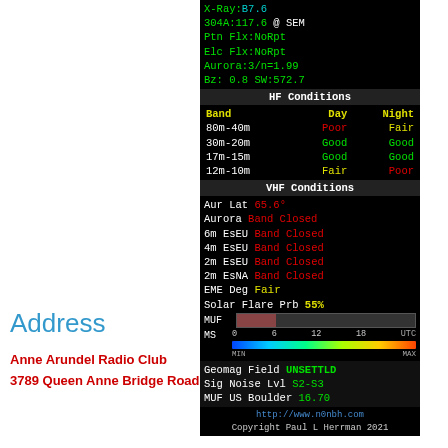[Figure (infographic): Amateur radio HF/VHF conditions widget on black background showing X-Ray class B7.6, 304A 117.6 @ SEM, Ptn Flx NoRpt, Elc Flx NoRpt, Aurora 3/n=1.99, Bz 0.8 SW:572.7, HF Conditions table (80m-40m Poor/Fair, 30m-20m Good/Good, 17m-15m Good/Good, 12m-10m Fair/Poor), VHF Conditions (Aur Lat 65.6°, Aurora Band Closed, 6m EsEU Band Closed, 4m EsEU Band Closed, 2m EsEU Band Closed, 2m EsNA Band Closed, EME Deg Fair, Solar Flare Prb 55%, MUF bar, MS color bar), Geomag Field UNSETTLD, Sig Noise Lvl S2-S3, MUF US Boulder 16.70, URL http://www.n0nbh.com, Copyright Paul L Herrman 2021]
Address
Anne Arundel Radio Club
3789 Queen Anne Bridge Road